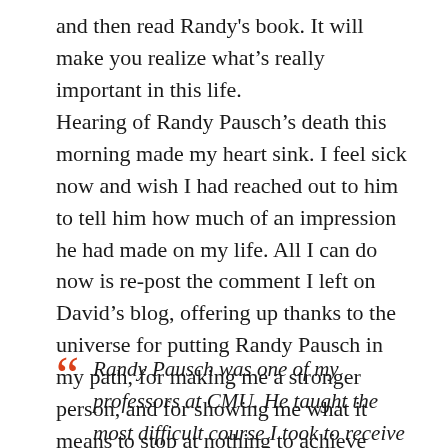and then read Randy's book. It will make you realize what's really important in this life.
Hearing of Randy Pausch's death this morning made my heart sink. I feel sick now and wish I had reached out to him to tell him how much of an impression he had made on my life. All I can do now is re-post the comment I left on David's blog, offering up thanks to the universe for putting Randy Pausch in my path, for making me a stronger person, and for showing me what it means to stop at nothing to achieve your dreams.
Randy Pausch was one of my professors at CMU. He taught the most difficult course I took to receive my degree in Human-Computer Interaction. It was called Experience the World in...